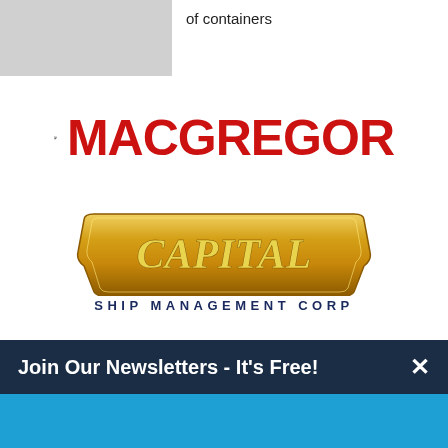of containers
[Figure (logo): MacGregor logo with ram head icon in black square border and red MACGREGOR text]
[Figure (logo): Capital Ship Management Corp logo with golden badge and dark blue text]
Join Our Newsletters - It's Free!
Subscribe to keep up to date with shipping news
Subscribe